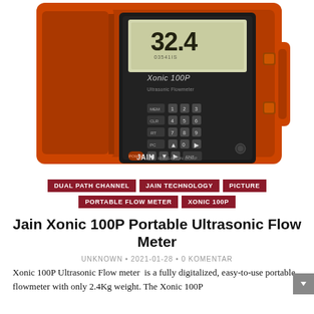[Figure (photo): Jain Xonic 100P portable ultrasonic flow meter in open orange protective carrying case, showing the black handheld device with LCD display reading 32.4 and numeric keypad, branded JAIN Xonic 100P Ultrasonic Flowmeter]
DUAL PATH CHANNEL
JAIN TECHNOLOGY
PICTURE
PORTABLE FLOW METER
XONIC 100P
Jain Xonic 100P Portable Ultrasonic Flow Meter
UNKNOWN • 2021-01-28 • 0 KOMENTAR
Xonic 100P Ultrasonic Flow meter  is a fully digitalized, easy-to-use portable flowmeter with only 2.4Kg weight. The Xonic 100P